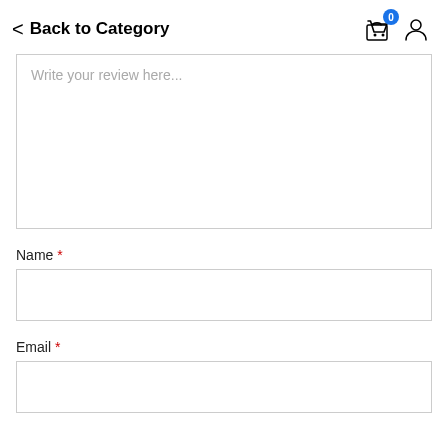Back to Category
Write your review here...
Name *
Email *